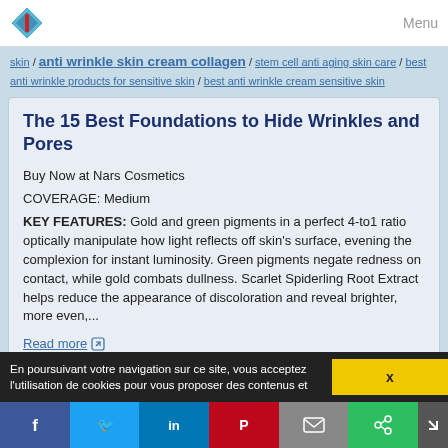Menu
skin / anti wrinkle skin cream collagen / stem cell anti aging skin care / best anti wrinkle products for sensitive skin / best anti wrinkle cream sensitive skin
The 15 Best Foundations to Hide Wrinkles and Pores
Buy Now at Nars Cosmetics
COVERAGE: Medium
KEY FEATURES: Gold and green pigments in a perfect 4-to1 ratio optically manipulate how light reflects off skin's surface, evening the complexion for instant luminosity. Green pigments negate redness on contact, while gold combats dullness. Scarlet Spiderling Root Extract helps reduce the appearance of discoloration and reveal brighter, more even,...
Read more
En poursuivant votre navigation sur ce site, vous acceptez l'utilisation de cookies pour vous proposer des contenus et
x